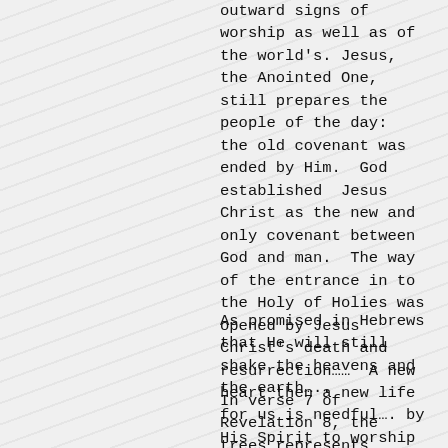outward signs of worship as well as of the world's. Jesus, the Anointed One,  still prepares the people of the day:  the old covenant was ended by Him.  God  established  Jesus Christ as the new and only covenant between God and man.  The way of the entrance in to the Holy of Holies was opened by Jesus Christ's death and resurrection……  A new heart then a new life  for us is needful…. by His Spirit to worship the Father in Spirit and Truth.
As promised in Hebrews that He will still shake the heavens and the earth…..
In verse 7 of Revelation 8, the trees represents leaders and rulers….. and the shaking resulted a third of the trees were burned up…. The word tree in Strong's Concordance also